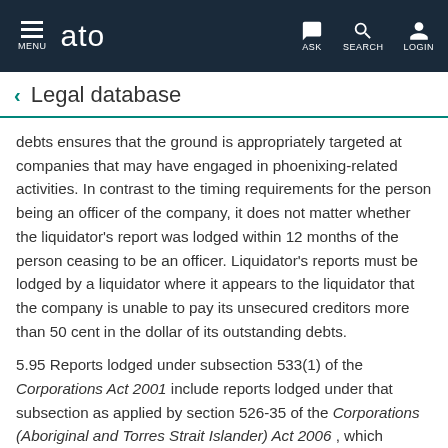MENU  ato  ASK  SEARCH  LOGIN
Legal database
debts ensures that the ground is appropriately targeted at companies that may have engaged in phoenixing-related activities. In contrast to the timing requirements for the person being an officer of the company, it does not matter whether the liquidator's report was lodged within 12 months of the person ceasing to be an officer. Liquidator's reports must be lodged by a liquidator where it appears to the liquidator that the company is unable to pay its unsecured creditors more than 50 cent in the dollar of its outstanding debts.
5.95 Reports lodged under subsection 533(1) of the Corporations Act 2001 include reports lodged under that subsection as applied by section 526-35 of the Corporations (Aboriginal and Torres Strait Islander) Act 2006 , which ensures that certain 'winding up provisions' contained in the Corporations Act 2001 apply appropriately to